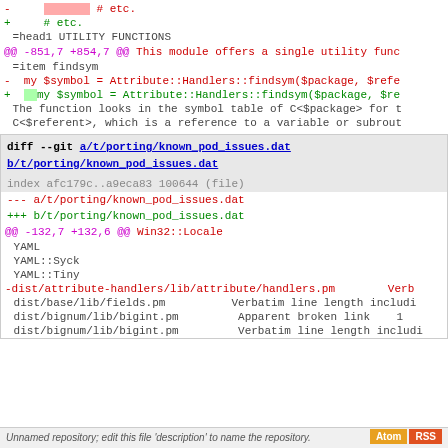-     # etc.
+     # etc.
=head1 UTILITY FUNCTIONS
@@ -851,7 +854,7 @@ This module offers a single utility func
=item findsym
-  my $symbol = Attribute::Handlers::findsym($package, $refe
+   my $symbol = Attribute::Handlers::findsym($package, $re
The function looks in the symbol table of C<$package> for t
C<$referent>, which is a reference to a variable or subrout
diff --git a/t/porting/known_pod_issues.dat b/t/porting/known_pod_issues.dat
index afc179c..a9eca83 100644 (file)
--- a/t/porting/known_pod_issues.dat
+++ b/t/porting/known_pod_issues.dat
@@ -132,7 +132,6 @@ Win32::Locale
YAML
 YAML::Syck
 YAML::Tiny
-dist/attribute-handlers/lib/attribute/handlers.pm        Verb
dist/base/lib/fields.pm          Verbatim line length includi
 dist/bignum/lib/bigint.pm         Apparent broken link    1
 dist/bignum/lib/bigint.pm         Verbatim line length includi
Unnamed repository; edit this file 'description' to name the repository.